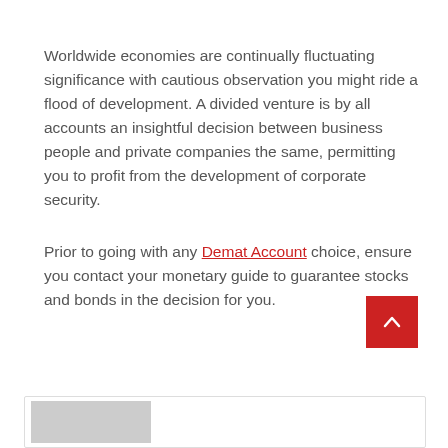Worldwide economies are continually fluctuating significance with cautious observation you might ride a flood of development. A divided venture is by all accounts an insightful decision between business people and private companies the same, permitting you to profit from the development of corporate security.
Prior to going with any Demat Account choice, ensure you contact your monetary guide to guarantee stocks and bonds in the decision for you.
[Figure (other): Red scroll-to-top button with upward chevron arrow]
[Figure (other): Bottom card with gray placeholder image]